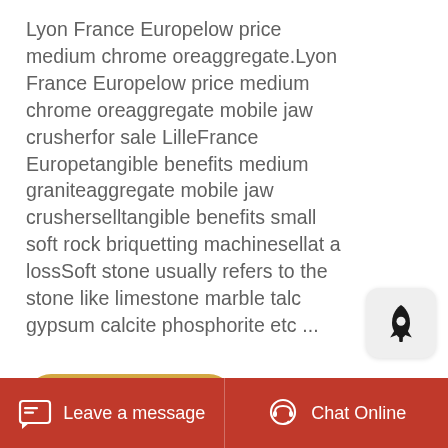Lyon France Europelow price medium chrome oreaggregate.Lyon France Europelow price medium chrome oreaggregate mobile jaw crusherfor sale LilleFrance Europetangible benefits medium graniteaggregate mobile jaw crusherselltangible benefits small soft rock briquetting machinesellat a lossSoft stone usually refers to the stone like limestone marble talc gypsum calcite phosphorite etc ...
[Figure (logo): Rocket ship icon badge in grey rounded square]
[Figure (other): Golden/yellow Free Quote button]
[Figure (photo): Aerial/landscape photo of a quarry or mining site with sandy hills and desert terrain]
Leave a message   Chat Online